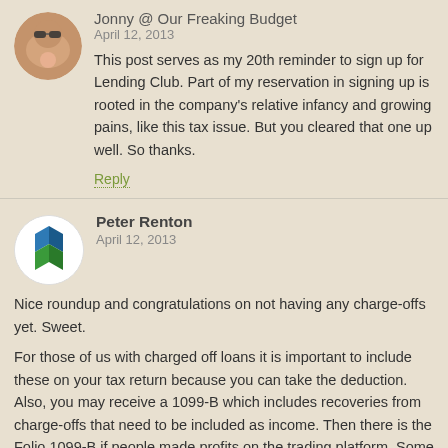[Figure (photo): Profile photo of a woman with sunglasses and a baby]
Jonny @ Our Freaking Budget
April 12, 2013
This post serves as my 20th reminder to sign up for Lending Club. Part of my reservation in signing up is rooted in the company's relative infancy and growing pains, like this tax issue. But you cleared that one up well. So thanks.
Reply
[Figure (logo): Peter Renton logo with blue and green diamond shapes]
Peter Renton
April 12, 2013
Nice roundup and congratulations on not having any charge-offs yet. Sweet.
For those of us with charged off loans it is important to include these on your tax return because you can take the deduction. Also, you may receive a 1099-B which includes recoveries from charge-offs that need to be included as income. Then there is the Folio 1099-B if people made profits on the trading platform. Some lucky investors would have also received a 1099-MISC if they received a bonus.
I hope you don't mind this self-promotion but I did write a